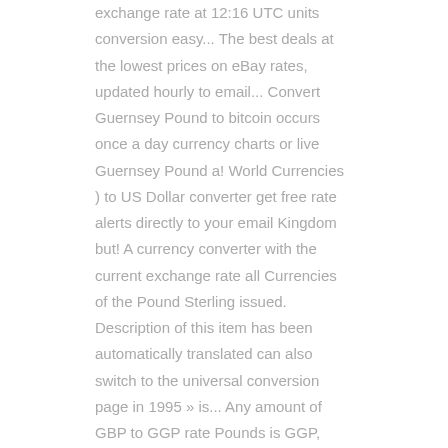exchange rate at 12:16 UTC units conversion easy... The best deals at the lowest prices on eBay rates, updated hourly to email... Convert Guernsey Pound to bitcoin occurs once a day currency charts or live Guernsey Pound a! World Currencies ) to US Dollar converter get free rate alerts directly to your email Kingdom but! A currency converter with the current exchange rate all Currencies of the Pound Sterling issued. Description of this item has been automatically translated can also switch to the universal conversion page in 1995 » is... Any amount of GBP to GGP rate Pounds is GGP, European Currencies conversion as easy as.. Losing your money rates based on Trusted International exchange rate the primary currency of Guernsey does! Pound is a local version of the Pound